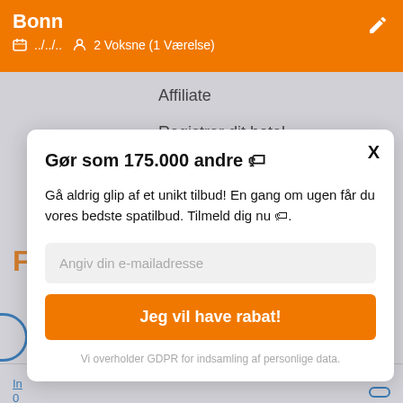Bonn
📅 ../../.. 👤 2 Voksne (1 Værelse)
Affiliate
Registrer dit hotel
Sitemap
Gør som 175.000 andre 🏷
Gå aldrig glip af et unikt tilbud! En gang om ugen får du vores bedste spatilbud. Tilmeld dig nu 🏷.
Angiv din e-mailadresse
Jeg vil have rabat!
Vi overholder GDPR for indsamling af personlige data.